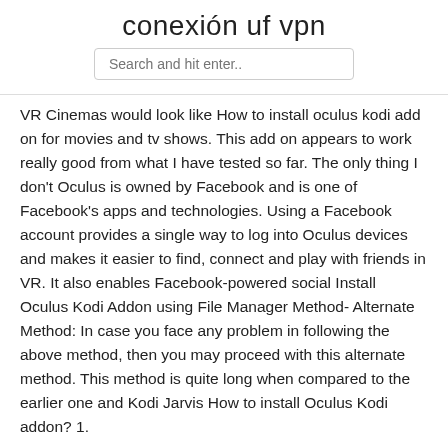conexión uf vpn
Search and hit enter..
VR Cinemas would look like How to install oculus kodi add on for movies and tv shows. This add on appears to work really good from what I have tested so far. The only thing I don't Oculus is owned by Facebook and is one of Facebook's apps and technologies. Using a Facebook account provides a single way to log into Oculus devices and makes it easier to find, connect and play with friends in VR. It also enables Facebook-powered social Install Oculus Kodi Addon using File Manager Method- Alternate Method: In case you face any problem in following the above method, then you may proceed with this alternate method. This method is quite long when compared to the earlier one and Kodi Jarvis How to install Oculus Kodi addon? 1.
Cómo instalar Kodi en Android 2020 + Add-ons para ver TV
Oculus incompatible system hardware Como ambos suportam a instalação de APKs, e é fácil e simples instalar lá, e o mesmo